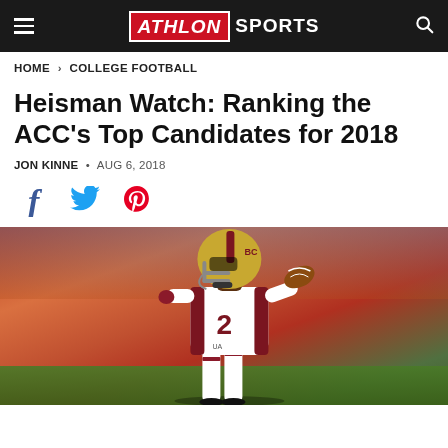ATHLON SPORTS
HOME > COLLEGE FOOTBALL
Heisman Watch: Ranking the ACC's Top Candidates for 2018
JON KINNE • AUG 6, 2018
[Figure (other): Social share icons: Facebook (f), Twitter (bird), Pinterest (P)]
[Figure (photo): A Boston College football player wearing jersey number 2 in white and maroon uniform with gold helmet, running with the ball during a game. Crowd visible in blurred background.]